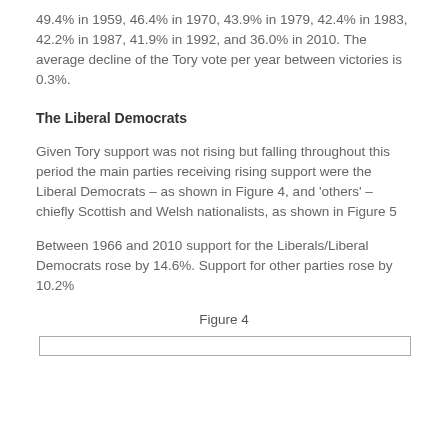49.4% in 1959, 46.4% in 1970, 43.9% in 1979, 42.4% in 1983, 42.2% in 1987, 41.9% in 1992, and 36.0% in 2010. The average decline of the Tory vote per year between victories is 0.3%.
The Liberal Democrats
Given Tory support was not rising but falling throughout this period the main parties receiving rising support were the Liberal Democrats – as shown in Figure 4, and 'others' – chiefly Scottish and Welsh nationalists, as shown in Figure 5
Between 1966 and 2010 support for the Liberals/Liberal Democrats rose by 14.6%. Support for other parties rose by 10.2%
Figure 4
[Figure (other): Bottom edge of Figure 4 chart, partially visible at bottom of page]